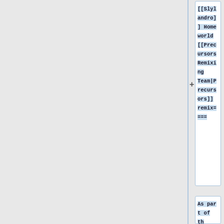[[Slylandro]] Homeworld [[Precursors Remixing Team|Precursors]] remix====
As part of the [[Remixing Project]], Espen Gätzschmann and Tore Aune Fjellstad created a new version of the Slylandro Homeworld